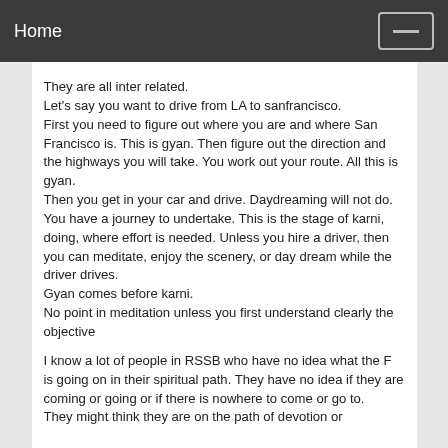Home
They are all inter related.
Let's say you want to drive from LA to sanfrancisco.
First you need to figure out where you are and where San Francisco is. This is gyan. Then figure out the direction and the highways you will take. You work out your route. All this is gyan.
Then you get in your car and drive. Daydreaming will not do. You have a journey to undertake. This is the stage of karni, doing, where effort is needed. Unless you hire a driver, then you can meditate, enjoy the scenery, or day dream while the driver drives.
Gyan comes before karni.
No point in meditation unless you first understand clearly the objective
I know a lot of people in RSSB who have no idea what the F is going on in their spiritual path. They have no idea if they are coming or going or if there is nowhere to come or go to.
They might think they are on the path of devotion or